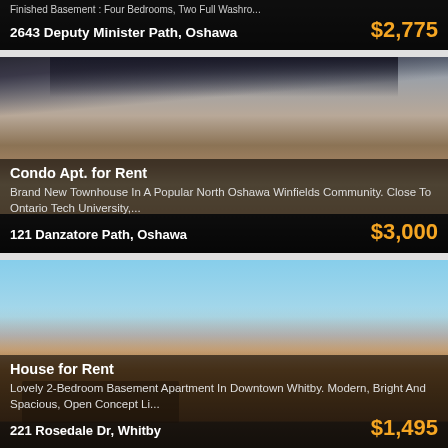[Figure (photo): Partial view of a residential property listing card — cropped top showing address bar]
Finished Basement : Four Bedrooms, Two Full Washro...
2643 Deputy Minister Path, Oshawa  $2,775
[Figure (photo): Photo of a brand new brick townhouse in North Oshawa Winfields Community]
Condo Apt. for Rent
Brand New Townhouse In A Popular North Oshawa Winfields Community. Close To Ontario Tech University,...
121 Danzatore Path, Oshawa  $3,000
[Figure (photo): Photo of a brick bungalow house for rent in Whitby]
House for Rent
Lovely 2-Bedroom Basement Apartment In Downtown Whitby. Modern, Bright And Spacious, Open Concept Li...
221 Rosedale Dr, Whitby  $1,495